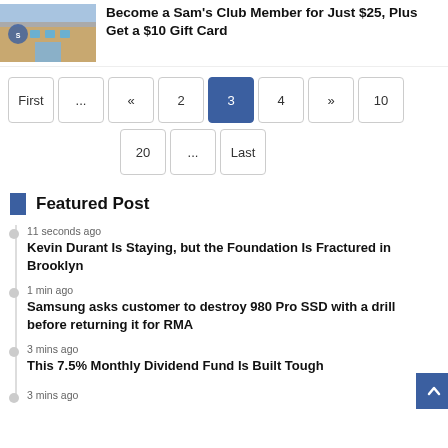[Figure (photo): Exterior photo of a Sam's Club store building with blue sky]
Become a Sam's Club Member for Just $25, Plus Get a $10 Gift Card
Pagination: First ... « 2 3 4 » 10 / 20 ... Last
Featured Post
11 seconds ago
Kevin Durant Is Staying, but the Foundation Is Fractured in Brooklyn
1 min ago
Samsung asks customer to destroy 980 Pro SSD with a drill before returning it for RMA
3 mins ago
This 7.5% Monthly Dividend Fund Is Built Tough
3 mins ago